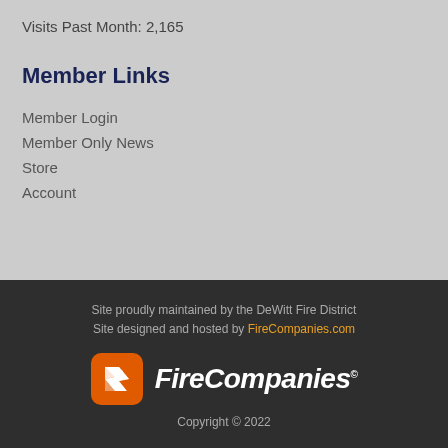Visits Past Month: 2,165
Member Links
Member Login
Member Only News
Store
Account
Site proudly maintained by the DeWitt Fire District
Site designed and hosted by FireCompanies.com
[Figure (logo): FireCompanies logo: orange rounded square icon with white stylized F checkered design, followed by italicized bold white text 'FireCompanies' with copyright symbol]
Copyright © 2022